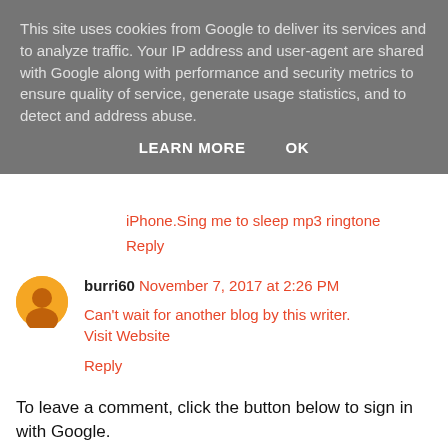This site uses cookies from Google to deliver its services and to analyze traffic. Your IP address and user-agent are shared with Google along with performance and security metrics to ensure quality of service, generate usage statistics, and to detect and address abuse.
LEARN MORE   OK
iPhone.Sing me to sleep mp3 ringtone
Reply
burri60   November 7, 2017 at 2:26 PM
Can't wait for another blog by this writer.
Visit Website
Reply
To leave a comment, click the button below to sign in with Google.
SIGN IN WITH GOOGLE